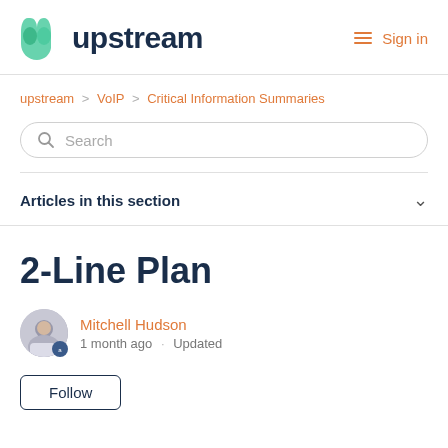upstream — Sign in
upstream > VoIP > Critical Information Summaries
Search
Articles in this section
2-Line Plan
Mitchell Hudson
1 month ago · Updated
Follow